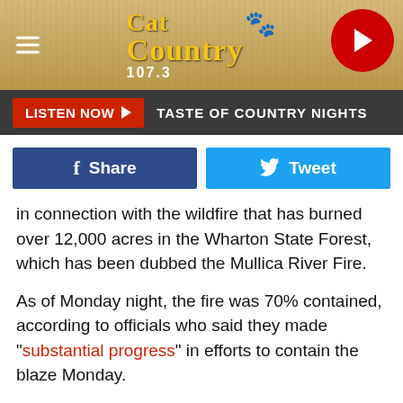[Figure (logo): Cat Country 107.3 radio station header with wood-texture background, hamburger menu icon on left, logo in center, play button on right]
[Figure (screenshot): Listen Now button bar with dark background and TASTE OF COUNTRY NIGHTS text]
[Figure (screenshot): Facebook Share and Twitter Tweet social buttons]
in connection with the wildfire that has burned over 12,000 acres in the Wharton State Forest, which has been dubbed the Mullica River Fire.
As of Monday night, the fire was 70% contained, according to officials who said they made "substantial progress" in efforts to contain the blaze Monday.
While fire officials did not say the blaze was intentionally set, they did indicate some human responsibility, according to the Washington Post.